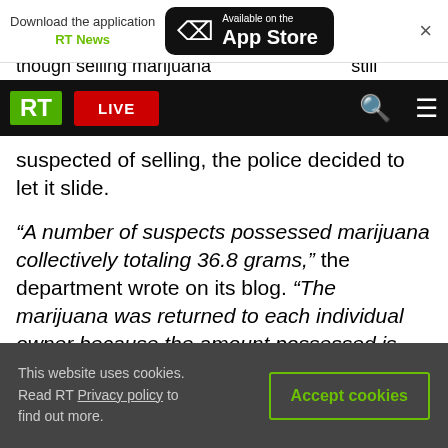[Figure (screenshot): App Store download banner for RT News application]
[Figure (screenshot): RT News website navigation bar with logo, LIVE button, search and menu icons]
suspected of selling, the police decided to let it slide.
“A number of suspects possessed marijuana collectively totaling 36.8 grams,” the department wrote on its blog. “The marijuana was returned to each individual owner because the amount possessed is legally allowed.”
Six other members of the group were arrested and charged for dealing marijuana, and in two cases for
This website uses cookies. Read RT Privacy policy to find out more.